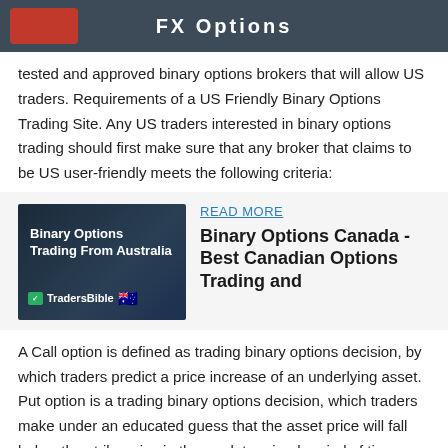FX Options
tested and approved binary options brokers that will allow US traders. Requirements of a US Friendly Binary Options Trading Site. Any US traders interested in binary options trading should first make sure that any broker that claims to be US user-friendly meets the following criteria:
[Figure (photo): Binary Options Trading From Australia - TradersBible promotional image with Australian flag]
READ MORE
Binary Options Canada - Best Canadian Options Trading and
A Call option is defined as trading binary options decision, by which traders predict a price increase of an underlying asset. Put option is a trading binary options decision, which traders make under an educated guess that the asset price will fall below the strike price in the predetermined period of time.